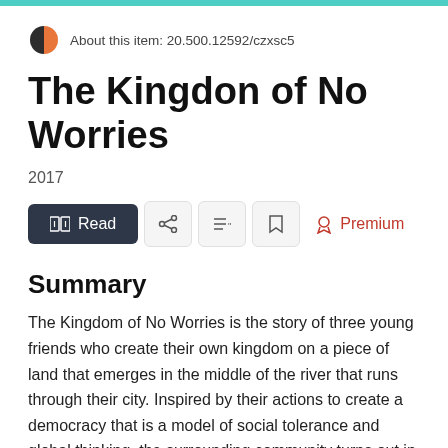About this item: 20.500.12592/czxsc5
The Kingdon of No Worries
2017
[Figure (infographic): Action buttons row: Read button (dark), share icon, playlist icon, bookmark icon, and Premium label in red]
Summary
The Kingdom of No Worries is the story of three young friends who create their own kingdom on a piece of land that emerges in the middle of the river that runs through their city. Inspired by their actions to create a democracy that is a model of social tolerance and global thinking, the surrounding community turns out in the thousands to